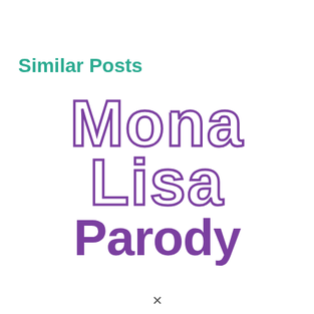Similar Posts
[Figure (illustration): Stylized outline text reading 'Mona Lisa' in purple with decorative rounded letterforms]
Parody